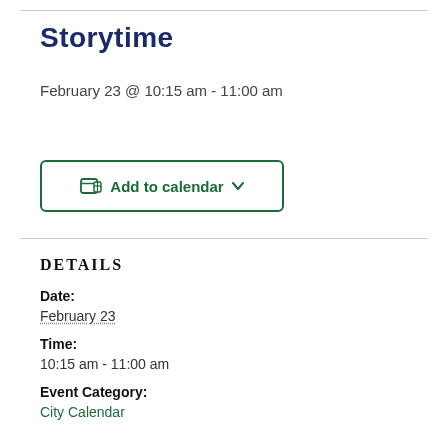Storytime
February 23 @ 10:15 am - 11:00 am
[Figure (other): Add to calendar button with calendar icon and dropdown arrow]
DETAILS
Date:
February 23
Time:
10:15 am - 11:00 am
Event Category:
City Calendar